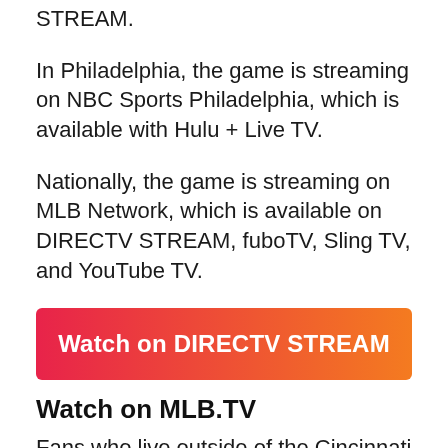STREAM.
In Philadelphia, the game is streaming on NBC Sports Philadelphia, which is available with Hulu + Live TV.
Nationally, the game is streaming on MLB Network, which is available on DIRECTV STREAM, fuboTV, Sling TV, and YouTube TV.
[Figure (other): Watch on DIRECTV STREAM button with gradient from red/pink to orange]
Watch on MLB.TV
Fans who live outside of the Cincinnati Reds and Philadelphia Phillies local market can watch all of today's action on MLB.tv. After a 7-day free trial, subscribers with the Yearly